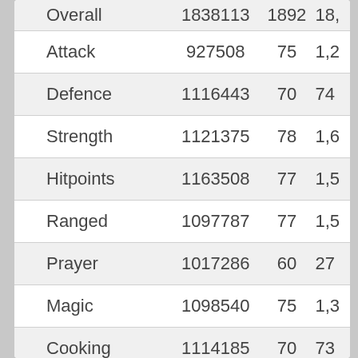| Skill | XP | Level | Rank |
| --- | --- | --- | --- |
| Overall | 1838113 | 1892 | 18,… |
| Attack | 927508 | 75 | 1,2… |
| Defence | 1116443 | 70 | 74… |
| Strength | 1121375 | 78 | 1,6… |
| Hitpoints | 1163508 | 77 | 1,5… |
| Ranged | 1097787 | 77 | 1,5… |
| Prayer | 1017286 | 60 | 27… |
| Magic | 1098540 | 75 | 1,3… |
| Cooking | 1114185 | 70 | 73… |
| Woodcutting | --- | --- |  |